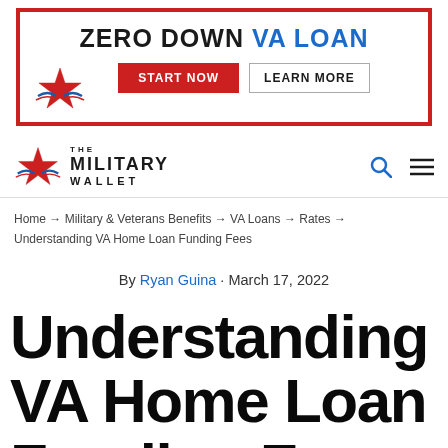[Figure (other): Zero Down VA Loan advertisement banner with red border, START NOW and LEARN MORE buttons, and a star/eagle logo on the left]
The Military Wallet - site navigation header with logo, search icon, and menu icon
Home → Military & Veterans Benefits → VA Loans → Rates → Understanding VA Home Loan Funding Fees
By Ryan Guina · March 17, 2022
Understanding VA Home Loan Funding Fees